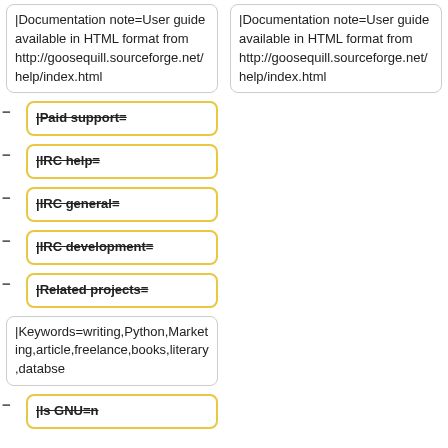|Documentation note=User guide available in HTML format from http://goosequill.sourceforge.net/help/index.html
|Documentation note=User guide available in HTML format from http://goosequill.sourceforge.net/help/index.html
- |Paid support=
- |IRC help=
- |IRC general=
- |IRC development=
- |Related projects=
|Keywords=writing,Python,Marketing,article,freelance,books,literary,databse
|Keywords=writing,Python,Marketing,article,freelance,books,literary,databse
- |Is GNU=n
+ |Version identifier=1.0beta9
+ |Version date=2004-09-29